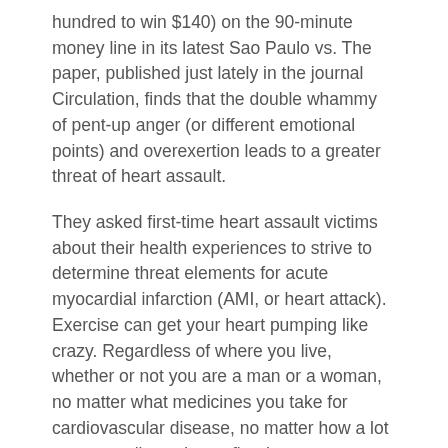hundred to win $140) on the 90-minute money line in its latest Sao Paulo vs. The paper, published just lately in the journal Circulation, finds that the double whammy of pent-up anger (or different emotional points) and overexertion leads to a greater threat of heart assault.
They asked first-time heart assault victims about their health experiences to strive to determine threat elements for acute myocardial infarction (AMI, or heart attack). Exercise can get your heart pumping like crazy. Regardless of where you live, whether or not you are a man or a woman, no matter what medicines you take for cardiovascular disease, no matter how a lot you normally work out, figuring out too laborious when you’re upset or overemotional can spell bother. But the blending of aggressive sports and military pleasure, it seems, is extra than simply the natural byproduct of patriotic fans and conservative workforce owners supporting their troops.